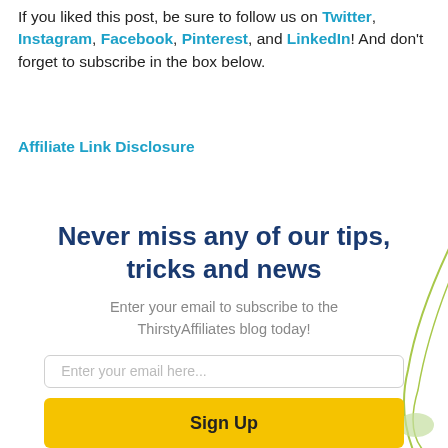If you liked this post, be sure to follow us on Twitter, Instagram, Facebook, Pinterest, and LinkedIn! And don't forget to subscribe in the box below.
Affiliate Link Disclosure
Never miss any of our tips, tricks and news
Enter your email to subscribe to the ThirstyAffiliates blog today!
Enter your email here...
Sign Up